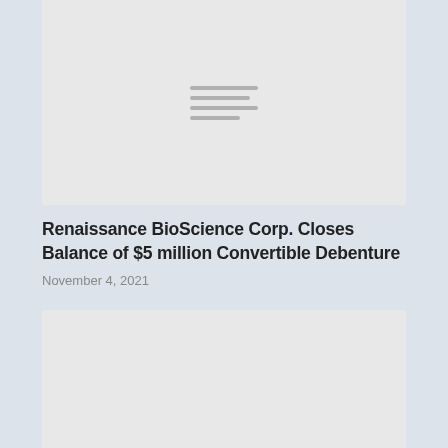[Figure (other): Gray placeholder card with horizontal lines representing an image thumbnail]
Renaissance BioScience Corp. Closes Balance of $5 million Convertible Debenture
November 4, 2021
[Figure (other): Gray placeholder card with horizontal lines representing a second image thumbnail, partially visible]